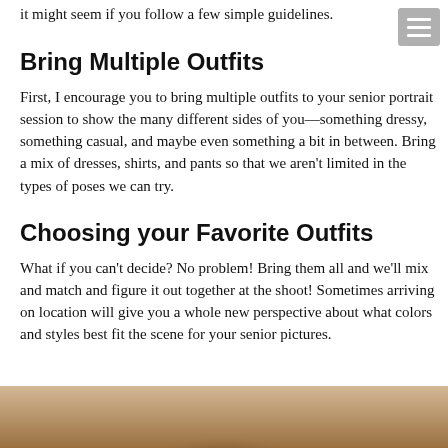it might seem if you follow a few simple guidelines.
Bring Multiple Outfits
First, I encourage you to bring multiple outfits to your senior portrait session to show the many different sides of you—something dressy, something casual, and maybe even something a bit in between. Bring a mix of dresses, shirts, and pants so that we aren't limited in the types of poses we can try.
Choosing your Favorite Outfits
What if you can't decide? No problem! Bring them all and we'll mix and match and figure it out together at the shoot! Sometimes arriving on location will give you a whole new perspective about what colors and styles best fit the scene for your senior pictures.
[Figure (photo): Bottom portion of a photo showing a person, warm sepia tones, partially visible at the bottom of the page.]